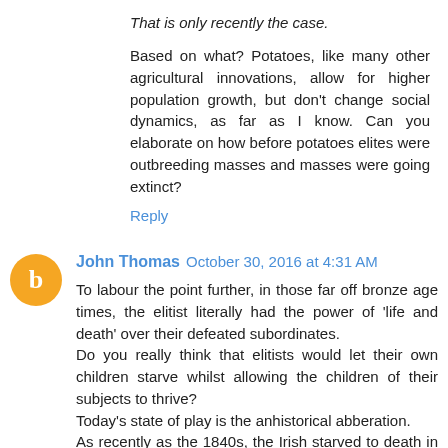That is only recently the case.
Based on what? Potatoes, like many other agricultural innovations, allow for higher population growth, but don't change social dynamics, as far as I know. Can you elaborate on how before potatoes elites were outbreeding masses and masses were going extinct?
Reply
John Thomas October 30, 2016 at 4:31 AM
To labour the point further, in those far off bronze age times, the elitist literally had the power of 'life and death' over their defeated subordinates.
Do you really think that elitists would let their own children starve whilst allowing the children of their subjects to thrive?
Today's state of play is the anhistorical abberation.
As recently as the 1840s, the Irish starved to death in their thousands, whilst in another part of the same Kingdom, prosperous, absentee landlord fat gentlemen were afflicted